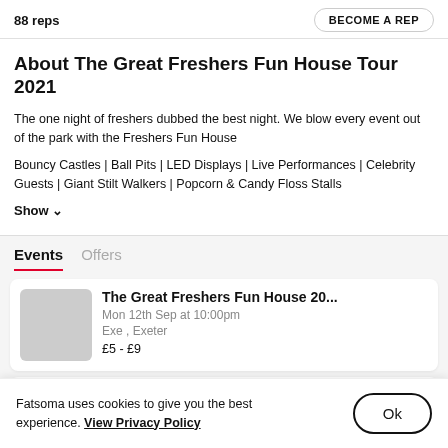88 reps | BECOME A REP
About The Great Freshers Fun House Tour 2021
The one night of freshers dubbed the best night. We blow every event out of the park with the Freshers Fun House
Bouncy Castles | Ball Pits | LED Displays | Live Performances | Celebrity Guests | Giant Stilt Walkers | Popcorn & Candy Floss Stalls
Show ∨
Events  Offers
The Great Freshers Fun House 20...
Mon 12th Sep at 10:00pm
Exe , Exeter
£5 - £9
Fatsoma uses cookies to give you the best experience. View Privacy Policy  Ok
20...
CAMBI, Cambridge